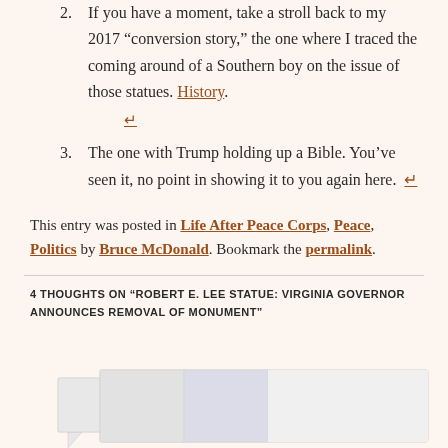2. If you have a moment, take a stroll back to my 2017 “conversion story,” the one where I traced the coming around of a Southern boy on the issue of those statues. History. ↩
3. The one with Trump holding up a Bible. You’ve seen it, no point in showing it to you again here. ↩
This entry was posted in Life After Peace Corps, Peace, Politics by Bruce McDonald. Bookmark the permalink.
4 THOUGHTS ON “ROBERT E. LEE STATUE: VIRGINIA GOVERNOR ANNOUNCES REMOVAL OF MONUMENT”
[Figure (other): Comment section with a speech bubble icon on the left and a comment box with two avatar placeholder sections on the right]